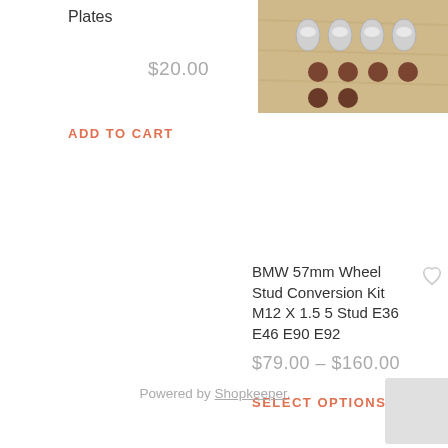Plates
$20.00
ADD TO CART
[Figure (photo): Photo of BMW wheel studs/bolts on a wooden surface]
BMW 57mm Wheel Stud Conversion Kit M12 X 1.5 5 Stud E36 E46 E90 E92
$79.00 – $160.00
SELECT OPTIONS
Powered by Shopkeeper.